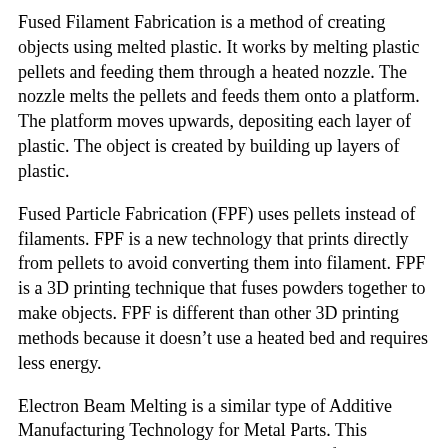Fused Filament Fabrication is a method of creating objects using melted plastic. It works by melting plastic pellets and feeding them through a heated nozzle. The nozzle melts the pellets and feeds them onto a platform. The platform moves upwards, depositing each layer of plastic. The object is created by building up layers of plastic.
Fused Particle Fabrication (FPF) uses pellets instead of filaments. FPF is a new technology that prints directly from pellets to avoid converting them into filament. FPF is a 3D printing technique that fuses powders together to make objects. FPF is different than other 3D printing methods because it doesn't use a heated bed and requires less energy.
Electron Beam Melting is a similar type of Additive Manufacturing Technology for Metal Parts. This technology uses an electron beam instead of heat to melt material into place. EBM manufactures parts by Melting Metal Powder Layer By Layer with an Electron Beam in a High Vacuum. Another Method Consists of an Inkjet 3D Printing System, Which Creates the Model One Layer At A Time by Spreading a Layer of Powder (Plaster Resins) And Printing a Binder in the Cross-Section of the Part Using an Inkjet-Like Process. With Laminated Object Manufacturing, Thin Layers Are Cut To Shape and Joined Together. In Addition to the Previously Mentioned Methods, HP Has Developed The Multi Jet Fusion